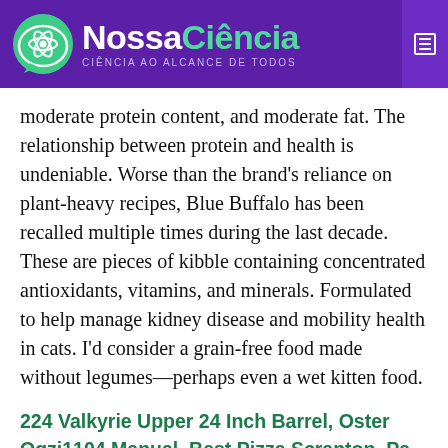NossaCiência — CIÊNCIA AO ALCANCE DE TODOS
moderate protein content, and moderate fat. The relationship between protein and health is undeniable. Worse than the brand's reliance on plant-heavy recipes, Blue Buffalo has been recalled multiple times during the last decade. These are pieces of kibble containing concentrated antioxidants, vitamins, and minerals. Formulated to help manage kidney disease and mobility health in cats. I'd consider a grain-free food made without legumes—perhaps even a wet kitten food.
224 Valkyrie Upper 24 Inch Barrel, Oster Ogzj1104 Manual, Best Pizza Scranton, Pa, Aws Glue Hive Metastore, Past Questions On Internship Exams For Medical Laboratory Science, Rockhounding Utah Lake, Voyager Electric Scooter Battery Replacement,